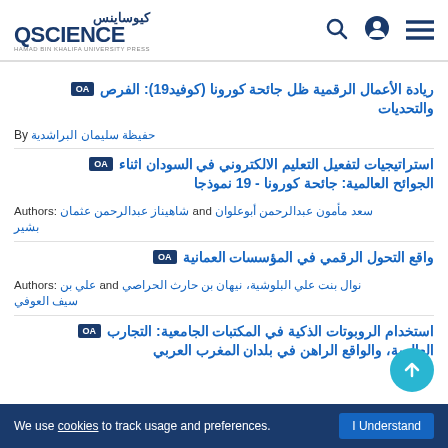QSCIENCE / كيوساينس - Hamad Bin Khalifa University Press
ريادة الأعمال الرقمية ظل جائحة كورونا (كوفيد19): الفرص والتحديات
By حفيظة سليمان البراشدية
استراتيجيات لتفعيل التعليم الالكتروني في السودان اثناء الجوائح العالمية: جائحة كورونا - 19 نموذجا
Authors: شاهيناز عبدالرحمن عثمان and سعد مأمون عبدالرحمن أبوعلوان بشير
واقع التحول الرقمي في المؤسسات العمانية
Authors: علي بن and نوال بنت علي البلوشية، نيهان بن حارث الحراصي سيف العوفي
استخدام الروبوتات الذكية في المكتبات الجامعية: التجارب العالمية، والواقع الراهن في بلدان المغرب العربي
We use cookies to track usage and preferences. I Understand